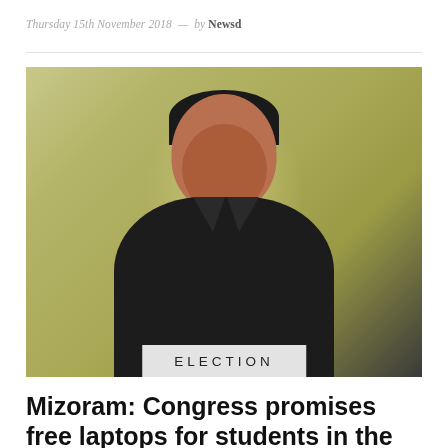Thursday 15th November 2018  —  by Newsd
[Figure (photo): Portrait photo of a middle-aged man in a dark jacket, with an olive/yellow background, and an ELECTION badge overlay at the bottom center.]
Mizoram: Congress promises free laptops for students in the